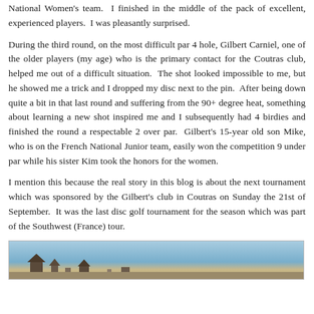National Women's team.  I finished in the middle of the pack of excellent, experienced players.  I was pleasantly surprised.
During the third round, on the most difficult par 4 hole, Gilbert Carniel, one of the older players (my age) who is the primary contact for the Coutras club, helped me out of a difficult situation.  The shot looked impossible to me, but he showed me a trick and I dropped my disc next to the pin.  After being down quite a bit in that last round and suffering from the 90+ degree heat, something about learning a new shot inspired me and I subsequently had 4 birdies and finished the round a respectable 2 over par.  Gilbert's 15-year old son Mike, who is on the French National Junior team, easily won the competition 9 under par while his sister Kim took the honors for the women.
I mention this because the real story in this blog is about the next tournament which was sponsored by the Gilbert's club in Coutras on Sunday the 21st of September.  It was the last disc golf tournament for the season which was part of the Southwest (France) tour.
[Figure (photo): Partial photo showing what appears to be a landscape or outdoor scene with sky and ground elements visible at the bottom of the page.]